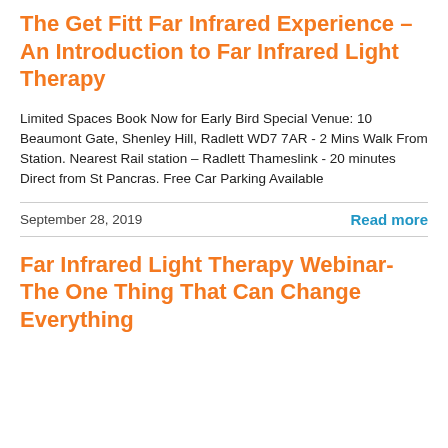The Get Fitt Far Infrared Experience – An Introduction to Far Infrared Light Therapy
Limited Spaces Book Now for Early Bird Special Venue: 10 Beaumont Gate, Shenley Hill, Radlett WD7 7AR - 2 Mins Walk From Station. Nearest Rail station – Radlett Thameslink - 20 minutes Direct from St Pancras. Free Car Parking Available
September 28, 2019
Read more
Far Infrared Light Therapy Webinar- The One Thing That Can Change Everything